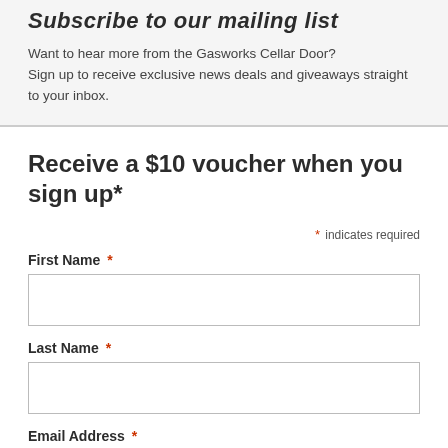Subscribe to our mailing list
Want to hear more from the Gasworks Cellar Door?
Sign up to receive exclusive news deals and giveaways straight to your inbox.
Receive a $10 voucher when you sign up*
* indicates required
First Name *
Last Name *
Email Address *